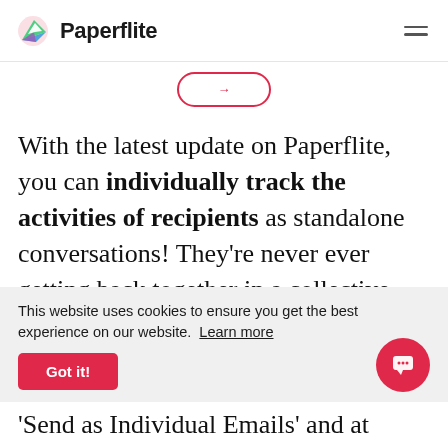Paperflite
[Figure (screenshot): Partial view of a button with red border and arrow, partially visible at top of content area]
With the latest update on Paperflite, you can individually track the activities of recipients as standalone conversations! They're never ever getting back together in a collective
This website uses cookies to ensure you get the best experience on our website. Learn more
'Send as Individual Emails' and at